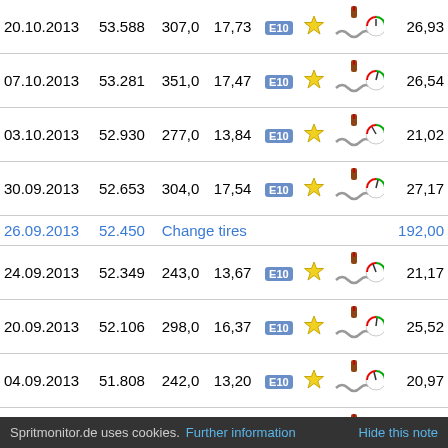| Date | Odometer | Distance | Consumption | Fuel | Rating | Icons | Cost |
| --- | --- | --- | --- | --- | --- | --- | --- |
| 20.10.2013 | 53.588 | 307,0 | 17,73 | E10 |  |  | 26,93 |
| 07.10.2013 | 53.281 | 351,0 | 17,47 | E10 |  |  | 26,54 |
| 03.10.2013 | 52.930 | 277,0 | 13,84 | E10 |  |  | 21,02 |
| 30.09.2013 | 52.653 | 304,0 | 17,54 | E10 |  |  | 27,17 |
| 26.09.2013 | 52.450 | Change tires |  |  |  |  | 192,00 |
| 24.09.2013 | 52.349 | 243,0 | 13,67 | E10 |  |  | 21,17 |
| 20.09.2013 | 52.106 | 298,0 | 16,37 | E10 |  |  | 25,52 |
| 04.09.2013 | 51.808 | 242,0 | 13,20 | E10 |  |  | 20,97 |
| 01.09.2013 | 51.566 | 241,0 | 13,56 | E10 |  |  | 21,00 |
| 18.08.2013 | 51.325 | 300,0 | 17,25 | E10 |  |  | 26,72 |
| 08.08.2013 | 51.025 | 415,0 | 23,12 | E10 |  |  | 35,91 |
Spritmonitor.de uses cookies. Further information   Hide this note